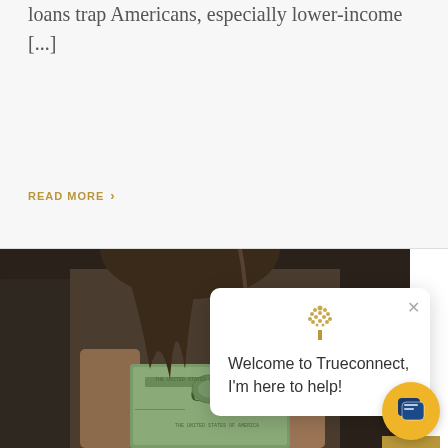loans trap Americans, especially lower-income [...]
READ MORE >
[Figure (photo): Woman holding a US one dollar bill, shot from chest down, curly hair visible, dark clothing, bokeh background]
[Figure (other): Trueconnect chat popup widget with tree logo and message: Welcome to Trueconnect, I'm here to help!, with X close button and yellow chat button icon]